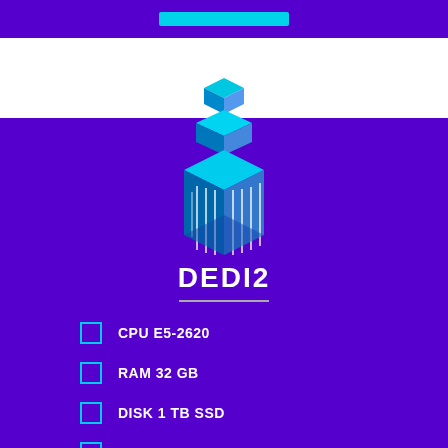[Figure (illustration): Isometric 3D building/server tower illustration in cyan and blue tones on purple background]
DEDI2
CPU E5-2620
RAM 32 GB
DISK 1 TB SSD
BANDWIDTH 50TB